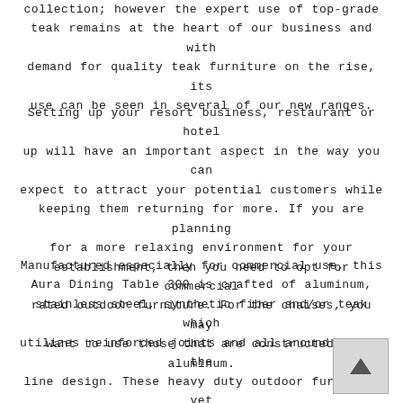collection; however the expert use of top-grade teak remains at the heart of our business and with demand for quality teak furniture on the rise, its use can be seen in several of our new ranges.
Setting up your resort business, restaurant or hotel up will have an important aspect in the way you can expect to attract your potential customers while keeping them returning for more. If you are planning for a more relaxing environment for your establishment, then you need to opt for commercial rated outdoor furniture. For the chaises, you may want to use those that are constructed of aluminum.
Manufactured especially for commercial use, this Aura Dining Table 300 is crafted of aluminum, stainless steel, synthetic fiber and/or teak which utilizes reinforced joints and all around top of the line design. These heavy duty outdoor furniture yet adds ample ambiance to resorts, pubs, restaurants, hotels, bars, and nightclubs. Furniture products crafted from aluminum are hard and tough. They are